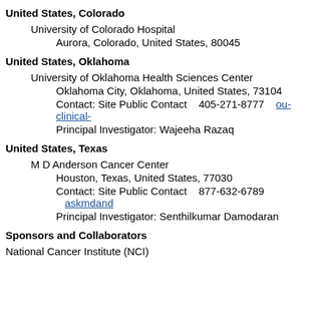United States, Colorado
University of Colorado Hospital
Aurora, Colorado, United States, 80045
United States, Oklahoma
University of Oklahoma Health Sciences Center
Oklahoma City, Oklahoma, United States, 73104
Contact: Site Public Contact    405-271-8777    ou-clinical-
Principal Investigator: Wajeeha Razaq
United States, Texas
M D Anderson Cancer Center
Houston, Texas, United States, 77030
Contact: Site Public Contact    877-632-6789    askmdand
Principal Investigator: Senthilkumar Damodaran
Sponsors and Collaborators
National Cancer Institute (NCI)